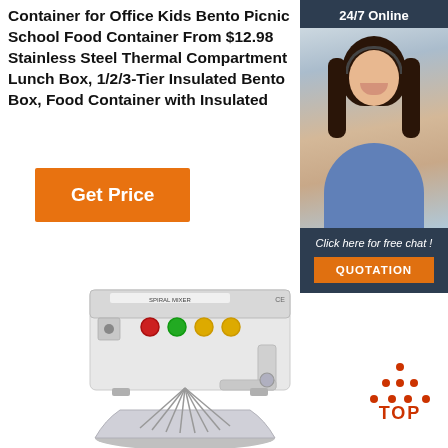Container for Office Kids Bento Picnic School Food Container From $12.98 Stainless Steel Thermal Compartment Lunch Box, 1/2/3-Tier Insulated Bento Box, Food Container with Insulated
[Figure (infographic): Sidebar with '24/7 Online' label, photo of female customer service agent with headset, 'Click here for free chat!' text, and orange QUOTATION button]
[Figure (other): Orange 'Get Price' button]
[Figure (photo): Industrial spiral dough mixer machine, white metal body with red, green, and yellow buttons, stainless steel mixing bowl]
[Figure (infographic): Orange 'TOP' logo with arrow/triangle pointing up made of dots]